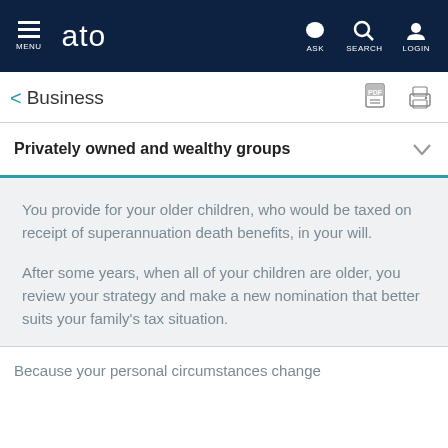MENU  ato  ASK  SEARCH  LOGIN
Business
Privately owned and wealthy groups
You provide for your older children, who would be taxed on receipt of superannuation death benefits, in your will.
After some years, when all of your children are older, you review your strategy and make a new nomination that better suits your family's tax situation.
Because your personal circumstances change